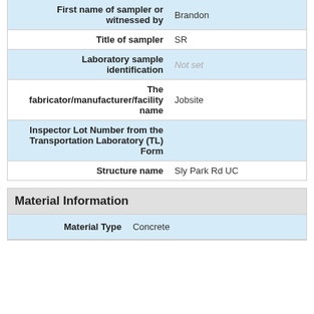| Field | Value |
| --- | --- |
| First name of sampler or witnessed by | Brandon |
| Title of sampler | SR |
| Laboratory sample identification | Not set |
| The fabricator/manufacturer/facility name | Jobsite |
| Inspector Lot Number from the Transportation Laboratory (TL) Form |  |
| Structure name | Sly Park Rd UC |
Material Information
| Field | Value |
| --- | --- |
| Material Type | Concrete |